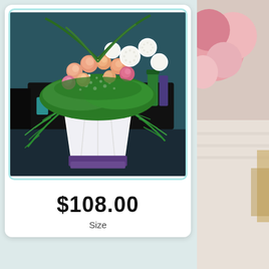[Figure (photo): A tall white vase/stand with a large floral arrangement on top, featuring peach/pink roses, white ball flowers, baby's breath, and green ferns. The arrangement is displayed in what appears to a flower shop with a dark background.]
$108.00
Size